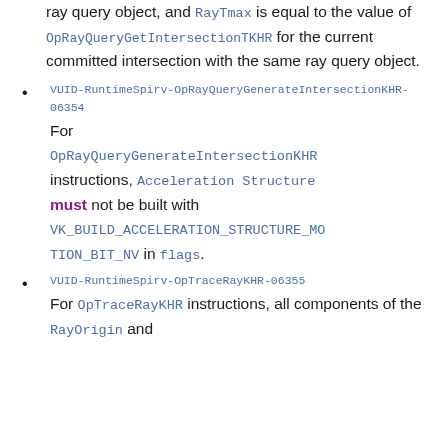ray query object, and RayTmax is equal to the value of OpRayQueryGetIntersectionTKHR for the current committed intersection with the same ray query object.
VUID-RuntimeSpirv-OpRayQueryGenerateIntersectionKHR-06354 For OpRayQueryGenerateIntersectionKHR instructions, Acceleration Structure must not be built with VK_BUILD_ACCELERATION_STRUCTURE_MOTION_BIT_NV in flags.
VUID-RuntimeSpirv-OpTraceRayKHR-06355 For OpTraceRayKHR instructions, all components of the RayOrigin and